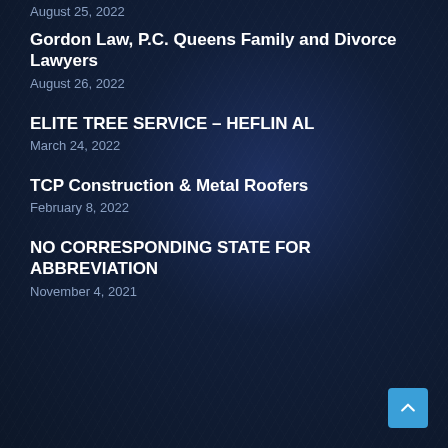August 25, 2022
Gordon Law, P.C. Queens Family and Divorce Lawyers
August 26, 2022
ELITE TREE SERVICE – HEFLIN AL
March 24, 2022
TCP Construction & Metal Roofers
February 8, 2022
NO CORRESPONDING STATE FOR ABBREVIATION
November 4, 2021